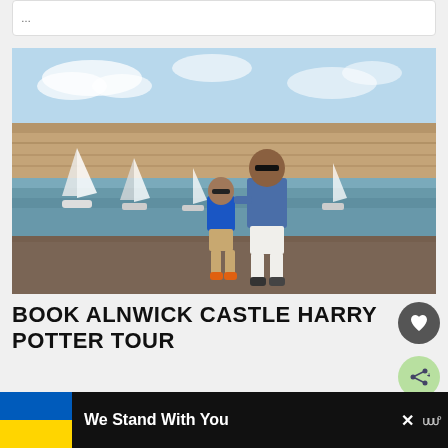...
[Figure (photo): Man and boy standing at a harbour wall with sailboats and water in the background, on a sunny day]
BOOK ALNWICK CASTLE HARRY POTTER TOUR
The best experiences in Edinburgh for your
[Figure (infographic): Ukrainian flag with 'We Stand With You' text on a dark background banner at the bottom of the screen, with a close (x) button]